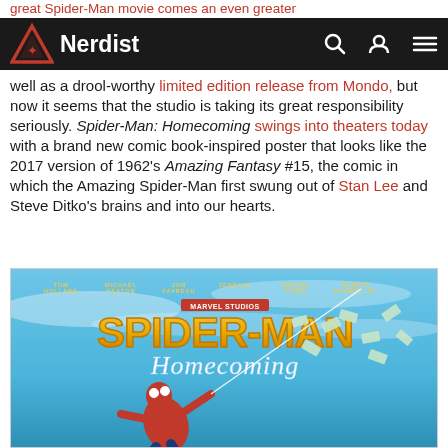great Spider-Man movie comes an even greater
[Figure (screenshot): Nerdist website navigation bar with triangle logo, brand name, search icon, user icon, and hamburger menu on dark background]
well as a drool-worthy limited edition release from Mondo, but now it seems that the studio is taking its great responsibility seriously. Spider-Man: Homecoming swings into theaters today with a brand new comic book-inspired poster that looks like the 2017 version of 1962's Amazing Fantasy #15, the comic in which the Amazing Spider-Man first swung out of Stan Lee and Steve Ditko's brains and into our hearts.
[Figure (photo): Spider-Man: Homecoming movie poster featuring Spider-Man in red and blue suit swinging with money flying around, with cast names at top including Tom Holland, Michael Keaton, Jon Favreau, Zendaya, Marisa Tomei, Robert Downey Jr., and Marvel Studios logo]